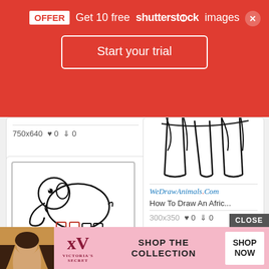[Figure (screenshot): Red Shutterstock promotional banner with OFFER text, 'Get 10 free shutterstock images', and 'Start your trial' button]
750x640   ♥ 0   ⬇ 0
[Figure (illustration): Line drawing of a cartoon elephant with trunk raised, two front legs visible with red outline highlight. Watermark: www.easypeasyandfun.com]
How To Draw An Eleph...
704x637   ♥ 0   ⬇ 0
[Figure (illustration): Line drawing showing elephant legs from behind, sketch style]
WeDrawAnimals.Com
How To Draw An Afric...
300x350   ♥ 0   ⬇ 0
[Figure (screenshot): Bottom advertisement for Victoria's Secret showing model photo and 'SHOP THE COLLECTION' text with SHOP NOW button]
CLOSE